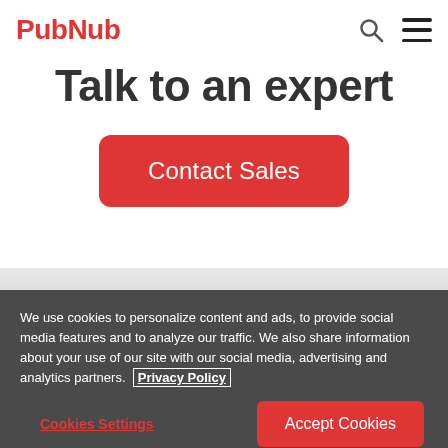PubNub
Talk to an expert
Contact Sales
We use cookies to personalize content and ads, to provide social media features and to analyze our traffic. We also share information about your use of our site with our social media, advertising and analytics partners. Privacy Policy
Cookies Settings
Accept Cookies